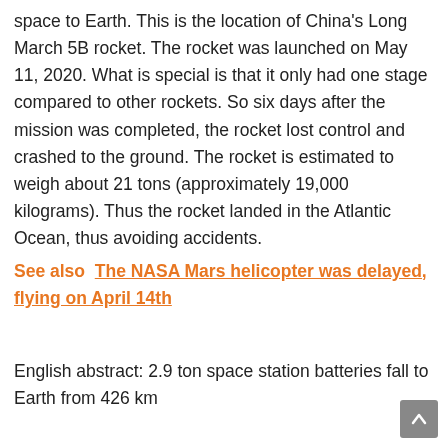space to Earth. This is the location of China's Long March 5B rocket. The rocket was launched on May 11, 2020. What is special is that it only had one stage compared to other rockets. So six days after the mission was completed, the rocket lost control and crashed to the ground. The rocket is estimated to weigh about 21 tons (approximately 19,000 kilograms). Thus the rocket landed in the Atlantic Ocean, thus avoiding accidents.
See also  The NASA Mars helicopter was delayed, flying on April 14th
English abstract: 2.9 ton space station batteries fall to Earth from 426 km